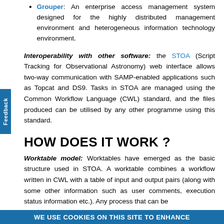Grouper: An enterprise access management system designed for the highly distributed management environment and heterogeneous information technology environment.
Interoperability with other software: the STOA (Script Tracking for Observational Astronomy) web interface allows two-way communication with SAMP-enabled applications such as Topcat and DS9. Tasks in STOA are managed using the Common Workflow Language (CWL) standard, and the files produced can be utilised by any other programme using this standard.
HOW DOES IT WORK ?
Worktable model: Worktables have emerged as the basic structure used in STOA. A worktable combines a workflow written in CWL with a table of input and output pairs (along with some other information such as user comments, execution status information etc.). Any process that can be
WE USE COOKIES ON THIS SITE TO ENHANCE